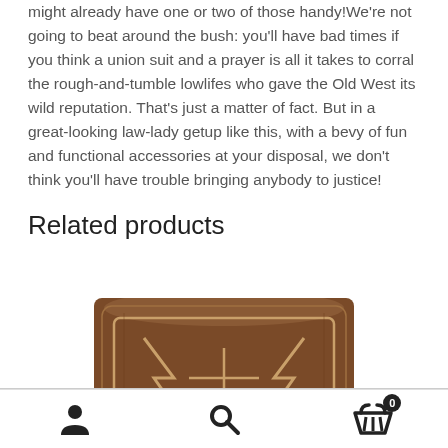might already have one or two of those handy!We're not going to beat around the bush: you'll have bad times if you think a union suit and a prayer is all it takes to corral the rough-and-tumble lowlifes who gave the Old West its wild reputation. That's just a matter of fact. But in a great-looking law-lady getup like this, with a bevy of fun and functional accessories at your disposal, we don't think you'll have trouble bringing anybody to justice!
Related products
[Figure (photo): Close-up photo of a brown cowboy boot with decorative stitching in tan/gold pattern]